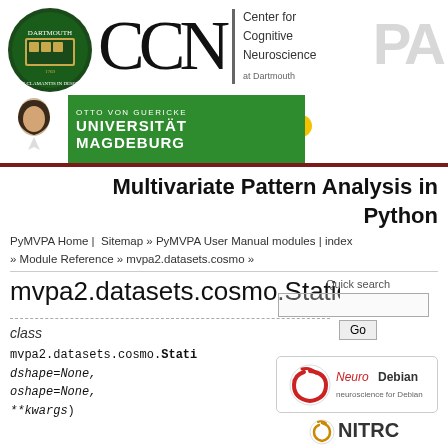[Figure (logo): Dartmouth College shield and CCN (Center for Cognitive Neuroscience at Dartmouth) logo with 'PA' watermark]
[Figure (logo): Otto von Guericke Universität Magdeburg green banner with portrait]
Multivariate Pattern Analysis in Python
PyMVPA Home | Sitemap » PyMVPA User Manual modules | index
» Module Reference » mvpa2.datasets.cosmo »
mvpa2.datasets.cosmo.StaticP
class
mvpa2.datasets.cosmo.Stati...tion(slicearg, dshape=None, oshape=None, **kwargs)
[Figure (logo): NeuroDebian logo badge]
[Figure (logo): NITRC logo]